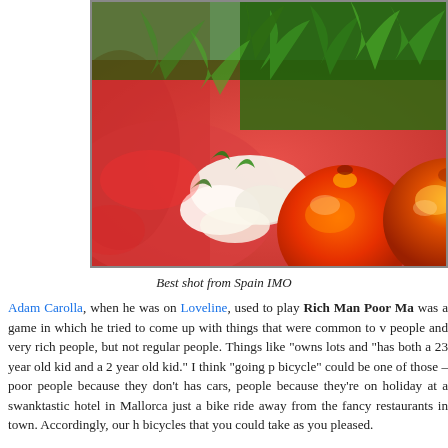[Figure (photo): Close-up food photo showing cherry tomatoes, arugula greens, white cheese shavings, and red carpaccio-style meat on a plate, photographed in Spain.]
Best shot from Spain IMO
Adam Carolla, when he was on Loveline, used to play Rich Man Poor Ma was a game in which he tried to come up with things that were common to v people and very rich people, but not regular people. Things like "owns lots and "has both a 23 year old kid and a 2 year old kid." I think "going p bicycle" could be one of those – poor people because they don't has cars, people because they're on holiday at a swanktastic hotel in Mallorca just a bike ride away from the fancy restaurants in town. Accordingly, our h bicycles that you could take as you pleased.